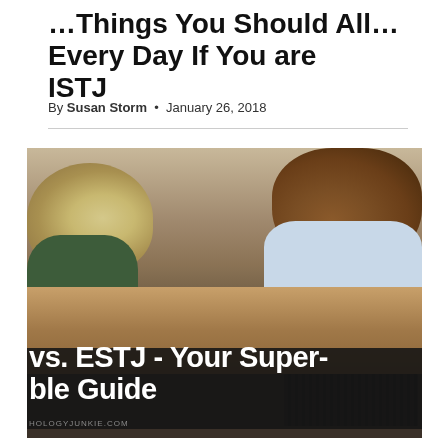… Things You Should All… Every Day If You Are an ISTJ
By Susan Storm • January 26, 2018
[Figure (photo): Two people leaning over a table, looking at something together. Overlay text reads 'vs. ESTJ - Your Super- ble Guide' with watermark HOLOGYJUNKIE.COM]